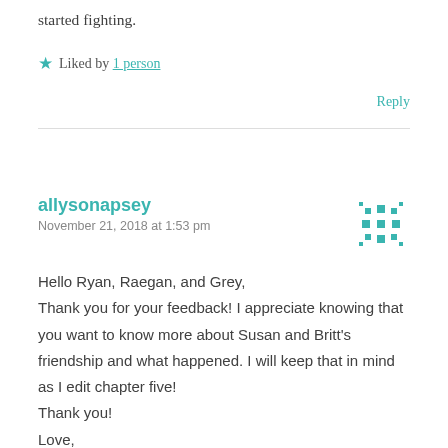started fighting.
★ Liked by 1 person
Reply
allysonapsey
November 21, 2018 at 1:53 pm
Hello Ryan, Raegan, and Grey,
Thank you for your feedback! I appreciate knowing that you want to know more about Susan and Britt's friendship and what happened. I will keep that in mind as I edit chapter five!
Thank you!
Love,
Mrs. Ansey